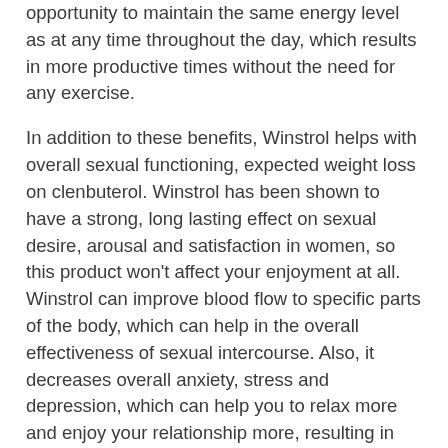opportunity to maintain the same energy level as at any time throughout the day, which results in more productive times without the need for any exercise.
In addition to these benefits, Winstrol helps with overall sexual functioning, expected weight loss on clenbuterol. Winstrol has been shown to have a strong, long lasting effect on sexual desire, arousal and satisfaction in women, so this product won't affect your enjoyment at all. Winstrol can improve blood flow to specific parts of the body, which can help in the overall effectiveness of sexual intercourse. Also, it decreases overall anxiety, stress and depression, which can help you to relax more and enjoy your relationship more, resulting in less stress and depression in the relationship as well, diet winstrol plan.
What Is Winstrol Used For?